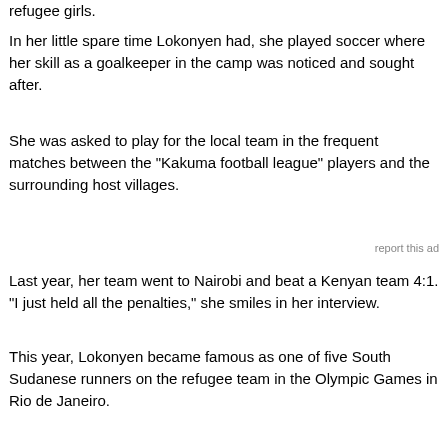refugee girls.
In her little spare time Lokonyen had, she played soccer where her skill as a goalkeeper in the camp was noticed and sought after.
She was asked to play for the local team in the frequent matches between the "Kakuma football league" players and the surrounding host villages.
report this ad
Last year, her team went to Nairobi and beat a Kenyan team 4:1. "I just held all the penalties," she smiles in her interview.
This year, Lokonyen became famous as one of five South Sudanese runners on the refugee team in the Olympic Games in Rio de Janeiro.